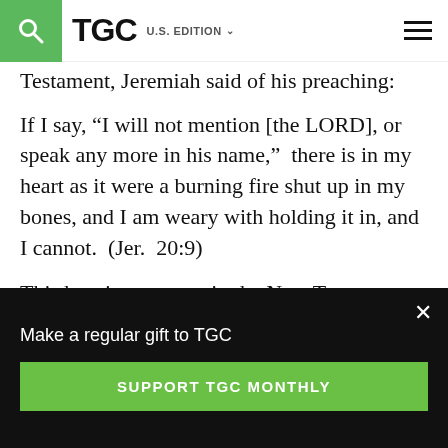TGC U.S. EDITION
Testament, Jeremiah said of his preaching:
If I say, “I will not mention [the LORD], or speak any more in his name,”  there is in my heart as it were a burning fire shut up in my bones, and I am weary with holding it in, and I cannot.  (Jer.  20:9)
This burning appears in the New Testament
Make a regular gift to TGC
SUPPORT TGC MONTHLY